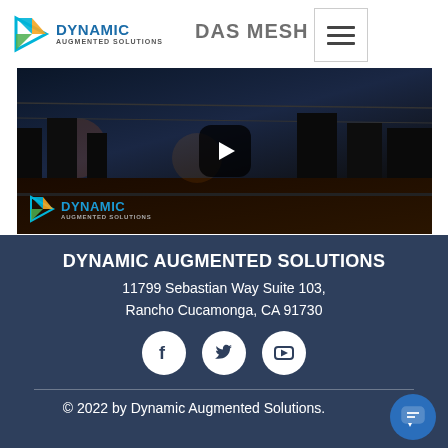[Figure (screenshot): Website header with Dynamic Augmented Solutions logo on white nav bar, hamburger menu icon, three-dots menu, and a video thumbnail showing a night street scene with YouTube play button overlay and Dynamic Augmented Solutions logo watermark]
DYNAMIC AUGMENTED SOLUTIONS
11799 Sebastian Way Suite 103, Rancho Cucamonga, CA 91730
[Figure (infographic): Three social media icons (Facebook, Twitter, YouTube) as white circles on dark blue background]
© 2022 by Dynamic Augmented Solutions.